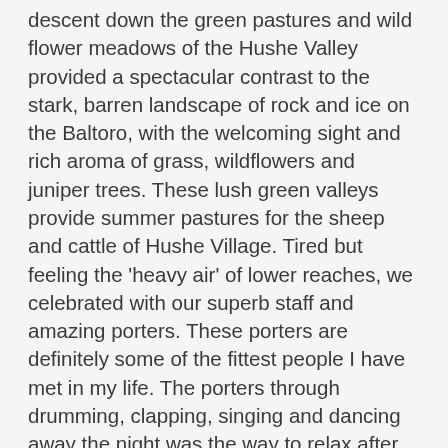descent down the green pastures and wild flower meadows of the Hushe Valley provided a spectacular contrast to the stark, barren landscape of rock and ice on the Baltoro, with the welcoming sight and rich aroma of grass, wildflowers and juniper trees. These lush green valleys provide summer pastures for the sheep and cattle of Hushe Village. Tired but feeling the 'heavy air' of lower reaches, we celebrated with our superb staff and amazing porters. These porters are definitely some of the fittest people I have met in my life. The porters through drumming, clapping, singing and dancing away the night was the way to relax after carrying 25kg and their personal stuff all day. They are known to cover the whole distance from Concordia to Askole within two days. And to top it all off, they do it with smiles on their faces! Our porter sardars, Ali Hasan and Ali Muhammad were extremely hospitable and helpful. Listening to their stories on both climbing and trekking expeditions was an experience in itself. It's amazing how these humble people are so content making a living out of guiding people